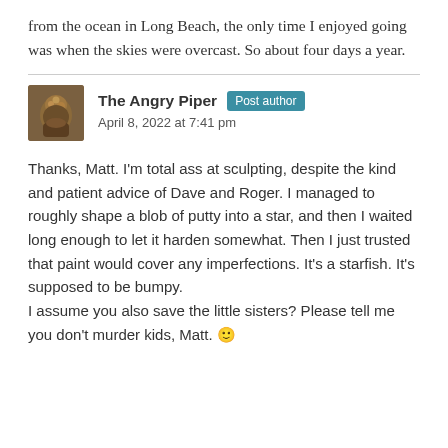from the ocean in Long Beach, the only time I enjoyed going was when the skies were overcast. So about four days a year.
The Angry Piper  Post author
April 8, 2022 at 7:41 pm
Thanks, Matt. I'm total ass at sculpting, despite the kind and patient advice of Dave and Roger. I managed to roughly shape a blob of putty into a star, and then I waited long enough to let it harden somewhat. Then I just trusted that paint would cover any imperfections. It's a starfish. It's supposed to be bumpy.
I assume you also save the little sisters? Please tell me you don't murder kids, Matt. 🙂